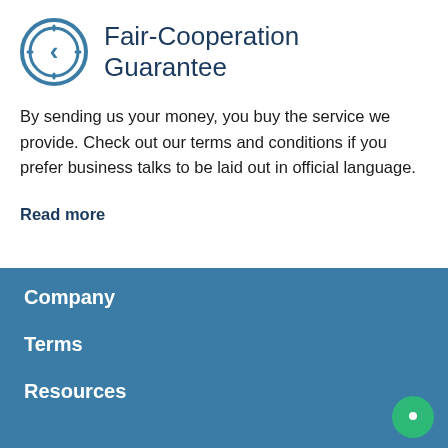Fair-Cooperation Guarantee
By sending us your money, you buy the service we provide. Check out our terms and conditions if you prefer business talks to be laid out in official language.
Read more
Company
Terms
Resources